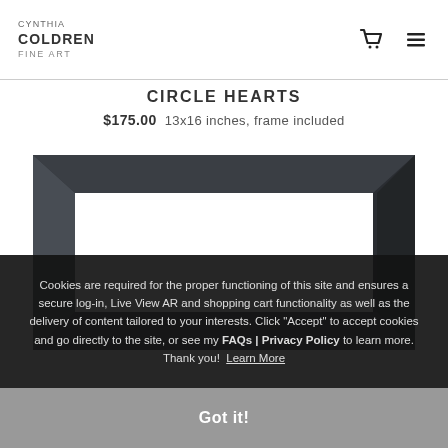CYNTHIA COLDREN FINE ART
CIRCLE HEARTS
$175.00  13x16 inches, frame included
[Figure (photo): A dark/black picture frame with white interior mat, partially visible product photo]
Cookies are required for the proper functioning of this site and ensures a secure log-in, Live View AR and shopping cart functionality as well as the delivery of content tailored to your interests. Click "Accept" to accept cookies and go directly to the site, or see my FAQs | Privacy Policy to learn more. Thank you! Learn More
Got it!